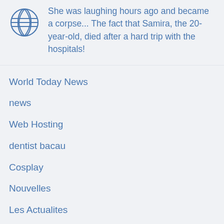She was laughing hours ago and became a corpse... The fact that Samira, the 20-year-old, died after a hard trip with the hospitals!
World Today News
news
Web Hosting
dentist bacau
Cosplay
Nouvelles
Les Actualites
Nachrichten